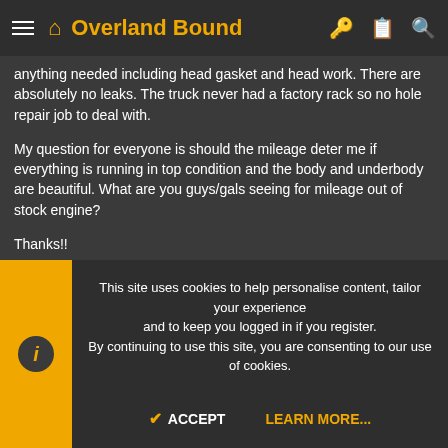Overland Bound
anything needed including head gasket and head work. There are absolutely no leaks. The truck never had a factory rack so no hole repair job to deal with.
My question for everyone is should the mileage deter me if everything is running in top condition and the body and underbody are beautiful. What are you guys/gals seeing for mileage out of stock engine?
Thanks!!
[Figure (photo): White SUV/van parked outdoors with trees in background]
This site uses cookies to help personalise content, tailor your experience and to keep you logged in if you register.
By continuing to use this site, you are consenting to our use of cookies.